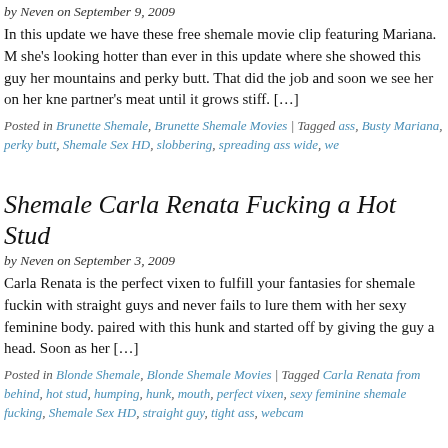by Neven on September 9, 2009
In this update we have these free shemale movie clip featuring Mariana. M she's looking hotter than ever in this update where she showed this guy her mountains and perky butt. That did the job and soon we see her on her kne partner's meat until it grows stiff. […]
Posted in Brunette Shemale, Brunette Shemale Movies | Tagged ass, Busty Mariana, perky butt, Shemale Sex HD, slobbering, spreading ass wide, we
Shemale Carla Renata Fucking a Hot Stud
by Neven on September 3, 2009
Carla Renata is the perfect vixen to fulfill your fantasies for shemale fuckin with straight guys and never fails to lure them with her sexy feminine body. paired with this hunk and started off by giving the guy a head. Soon as her […]
Posted in Blonde Shemale, Blonde Shemale Movies | Tagged Carla Renata from behind, hot stud, humping, hunk, mouth, perfect vixen, sexy feminine shemale fucking, Shemale Sex HD, straight guy, tight ass, webcam